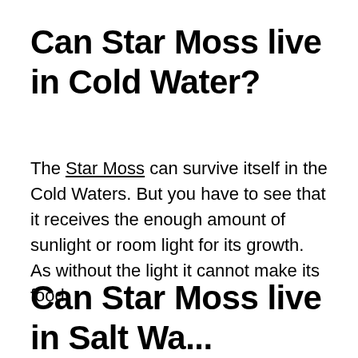Can Star Moss live in Cold Water?
The Star Moss can survive itself in the Cold Waters. But you have to see that it receives the enough amount of sunlight or room light for its growth. As without the light it cannot make its food.
Can Star Moss live in Salt Water?